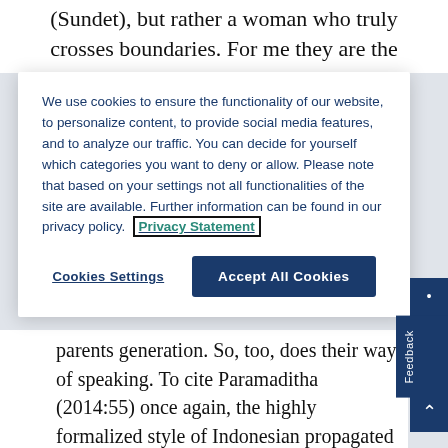(Sundet), but rather a woman who truly crosses boundaries. For me they are the
We use cookies to ensure the functionality of our website, to personalize content, to provide social media features, and to analyze our traffic. You can decide for yourself which categories you want to deny or allow. Please note that based on your settings not all functionalities of the site are available. Further information can be found in our privacy policy. Privacy Statement
Cookies Settings
Accept All Cookies
parents generation. So, too, does their way of speaking. To cite Paramaditha (2014:55) once again, the highly formalized style of Indonesian propagated under the New Order has often been experienced as alienating by a younger, post-authoritarian generation. This formalized style of speaking, and the institutional violence that it helped to mediate, have outlived the regime itself—as evident, for example, in the strong articulation of 'tolerance' in Cinta tapi beda